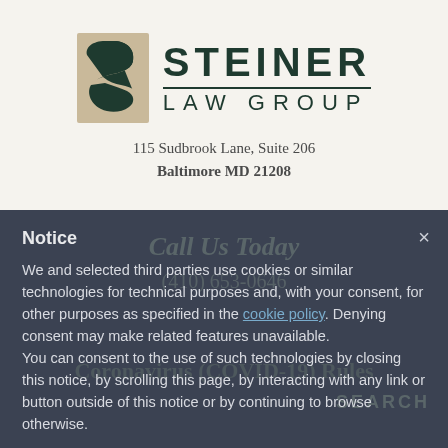[Figure (logo): Steiner Law Group logo with stylized S icon in dark green and tan, with firm name STEINER LAW GROUP in dark green serif/sans text]
115 Sudbrook Lane, Suite 206
Baltimore MD 21208
Notice
We and selected third parties use cookies or similar technologies for technical purposes and, with your consent, for other purposes as specified in the cookie policy. Denying consent may make related features unavailable.
You can consent to the use of such technologies by closing this notice, by scrolling this page, by interacting with any link or button outside of this notice or by continuing to browse otherwise.